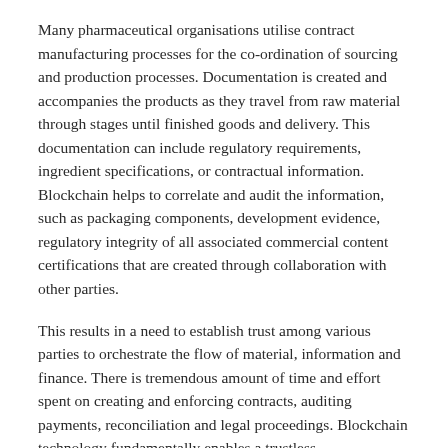Many pharmaceutical organisations utilise contract manufacturing processes for the co-ordination of sourcing and production processes. Documentation is created and accompanies the products as they travel from raw material through stages until finished goods and delivery. This documentation can include regulatory requirements, ingredient specifications, or contractual information. Blockchain helps to correlate and audit the information, such as packaging components, development evidence, regulatory integrity of all associated commercial content certifications that are created through collaboration with other parties.
This results in a need to establish trust among various parties to orchestrate the flow of material, information and finance. There is tremendous amount of time and effort spent on creating and enforcing contracts, auditing payments, reconciliation and legal proceedings. Blockchain technology fundamentally enables a trustless